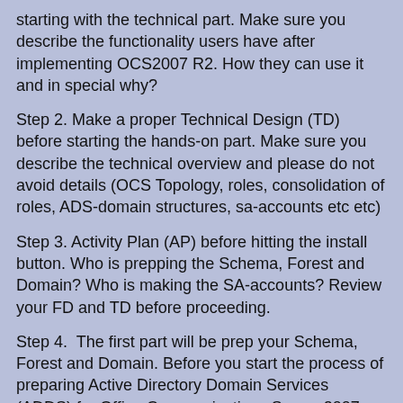starting with the technical part. Make sure you describe the functionality users have after implementing OCS2007 R2. How they can use it and in special why?
Step 2. Make a proper Technical Design (TD) before starting the hands-on part. Make sure you describe the technical overview and please do not avoid details (OCS Topology, roles, consolidation of roles, ADS-domain structures, sa-accounts etc etc)
Step 3. Activity Plan (AP) before hitting the install button. Who is prepping the Schema, Forest and Domain? Who is making the SA-accounts? Review your FD and TD before proceeding.
Step 4.  The first part will be prep your Schema, Forest and Domain. Before you start the process of preparing Active Directory Domain Services (ADDS) for Office Communications Server 2007 R2, ensure that your Active Directory infrastructure meets the prerequisites. More information will be available very soon.
Step 5. The second part. Before you deploy Office